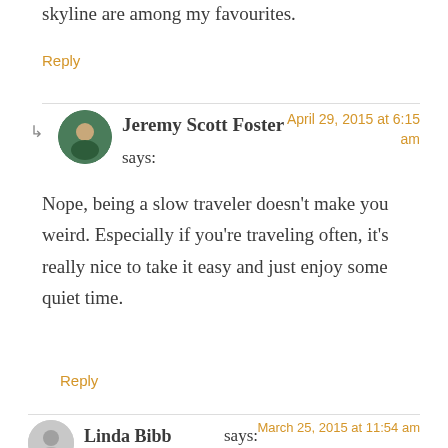skyline are among my favourites.
Reply
Jeremy Scott Foster says:
April 29, 2015 at 6:15 am
Nope, being a slow traveler doesn't make you weird. Especially if you're traveling often, it's really nice to take it easy and just enjoy some quiet time.
Reply
Linda Bibb says:
March 25, 2015 at 11:54 am